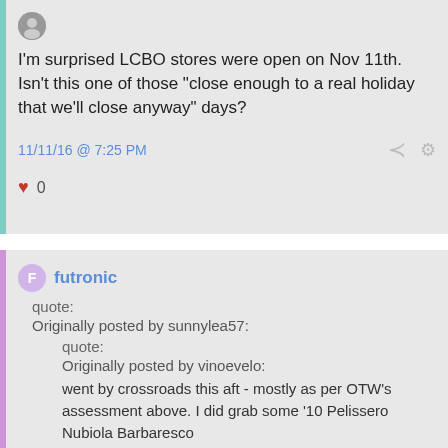I'm surprised LCBO stores were open on Nov 11th. Isn't this one of those "close enough to a real holiday that we'll close anyway" days?
11/11/16 @ 7:25 PM
0
futronic
quote:
Originally posted by sunnylea57:
quote:
Originally posted by vinoevelo:
went by crossroads this aft - mostly as per OTW's assessment above. I did grab some '10 Pelissero Nubiola Barbaresco